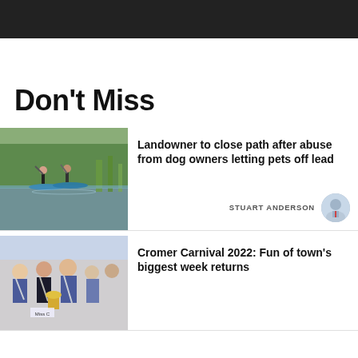[Figure (photo): Dark navigation/header bar at top of webpage]
Don't Miss
[Figure (photo): Two people paddleboarding on a calm river or lake surrounded by green trees and reeds]
Landowner to close path after abuse from dog owners letting pets off lead
STUART ANDERSON
[Figure (photo): Group of women in blue sashes at a carnival event, one holding a trophy or cup]
Cromer Carnival 2022: Fun of town's biggest week returns